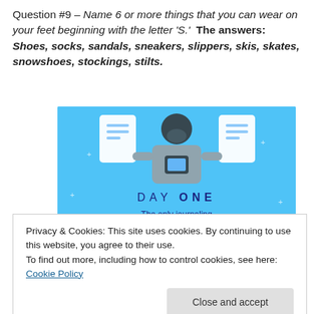Question #9 – Name 6 or more things that you can wear on your feet beginning with the letter 'S.'  The answers: Shoes, socks, sandals, sneakers, slippers, skis, skates, snowshoes, stockings, stilts.
[Figure (illustration): DAY ONE – The only journaling app you'll ever need. Blue background with illustration of a person using a phone, surrounded by notebook icons.]
Privacy & Cookies: This site uses cookies. By continuing to use this website, you agree to their use.
To find out more, including how to control cookies, see here: Cookie Policy
Did you have fun with this?  I know that I did...How is this